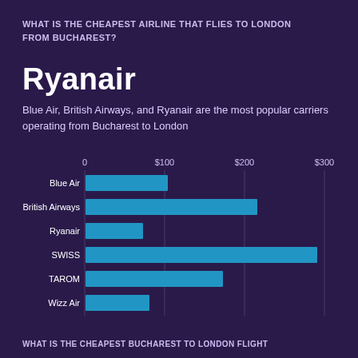WHAT IS THE CHEAPEST AIRLINE THAT FLIES TO LONDON FROM BUCHAREST?
Ryanair
Blue Air, British Airways, and Ryanair are the most popular carriers operating from Bucharest to London
[Figure (bar-chart): Airlines from Bucharest to London - cheapest price]
WHAT IS THE CHEAPEST BUCHAREST TO LONDON FLIGHT